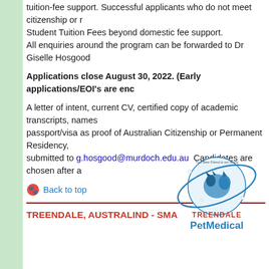tuition-fee support. Successful applicants who do not meet citizenship or residency requirements will be responsible for paying Student Tuition Fees beyond domestic fee support.
All enquiries around the program can be forwarded to Dr Giselle Hosgood
Applications close August 30, 2022. (Early applications/EOIs are enc
A letter of intent, current CV, certified copy of academic transcripts, names, passport/visa as proof of Australian Citizenship or Permanent Residency, submitted to g.hosgood@murdoch.edu.au  Candidates are chosen after a
Back to top
TREENDALE, AUSTRALIND - SMA
[Figure (logo): Treendale Pet Medical logo with circular globe graphic featuring a cat and dog silhouette, text reading 'Your Best Friend is our World', TREENDALE in red, PetMedical in blue]
FULL TIME OR PART TIME SMALL ANIMAL VETERINARIAN WANTED
Overseas qualified vets with degrees recognised in Australia are most wel
PARTNERSHIP OPPORTUNITY exists.